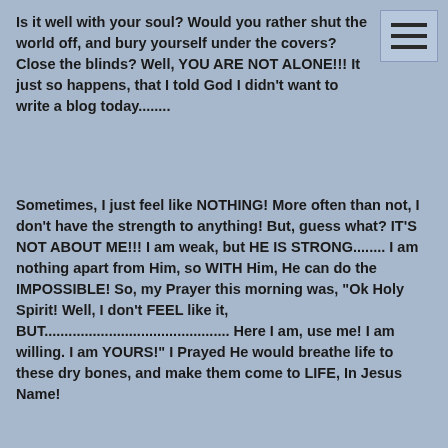Is it well with your soul?  Would you rather shut the world off, and bury yourself under the covers?  Close the blinds?  Well, YOU ARE NOT ALONE!!!  It just so happens, that I told God I didn't want to write a blog today........
Sometimes, I just feel like NOTHING!  More often than not, I don't have the strength to anything!  But, guess what?  IT'S NOT ABOUT ME!!!  I am weak, but HE IS STRONG........  I am nothing apart from Him, so WITH Him, He can do the IMPOSSIBLE!  So, my Prayer this morning was, "Ok Holy Spirit!  Well, I don't FEEL like it, BUT..............................................  Here I am, use me!  I am willing.  I am YOURS!"  I Prayed He would breathe life to these dry bones, and make them come to LIFE, In Jesus Name!